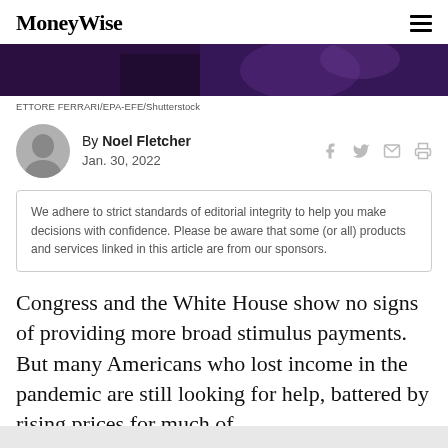MoneyWise
[Figure (photo): Dark purple-toned photo of a person at an event, cropped hero image]
ETTORE FERRARI/EPA-EFE/Shutterstock
By Noel Fletcher
Jan. 30, 2022
We adhere to strict standards of editorial integrity to help you make decisions with confidence. Please be aware that some (or all) products and services linked in this article are from our sponsors.
Congress and the White House show no signs of providing more broad stimulus payments. But many Americans who lost income in the pandemic are still looking for help, battered by rising prices for much of